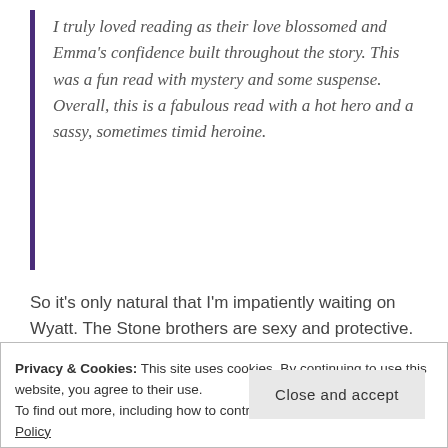I truly loved reading as their love blossomed and Emma's confidence built throughout the story. This was a fun read with mystery and some suspense. Overall, this is a fabulous read with a hot hero and a sassy, sometimes timid heroine.
So it's only natural that I'm impatiently waiting on Wyatt. The Stone brothers are sexy and protective. You can't help but fall in love. Of course, Susan doesn't stop the series at just them. Brody will also have a book coming out soon. He's
Privacy & Cookies: This site uses cookies. By continuing to use this website, you agree to their use.
To find out more, including how to control cookies, see here: Cookie Policy
Close and accept